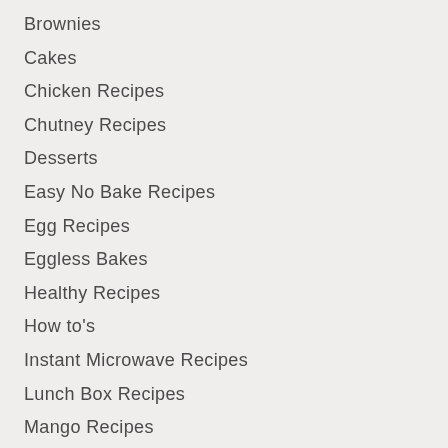Brownies
Cakes
Chicken Recipes
Chutney Recipes
Desserts
Easy No Bake Recipes
Egg Recipes
Eggless Bakes
Healthy Recipes
How to's
Instant Microwave Recipes
Lunch Box Recipes
Mango Recipes
Millet Recipes
Mushroom Recipes